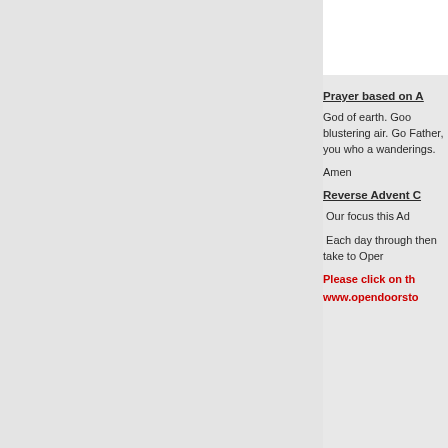Prayer based on A
God of earth. Goo blustering air. Go Father, you who a wanderings.
Amen
Reverse Advent C
Our focus this Ad
Each day through then take to Oper
Please click on th
www.opendoorsto